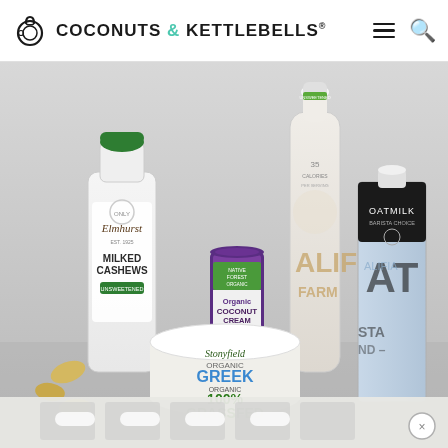COCONUTS & KETTLEBELLS®
[Figure (photo): Collection of dairy and non-dairy milk alternative products arranged together including Elmhurst Milked Cashews (unsweetened), Native Forest Organic Coconut Cream Premium can, Califia Farms unsweetened almond milk (35 calories), Califia Farms Oatmilk Barista Choice, Stonyfield Organic Greek 100% Grassfed yogurt, 365 Organic Heavy Cream Grade A, and a small container of cashews on the left.]